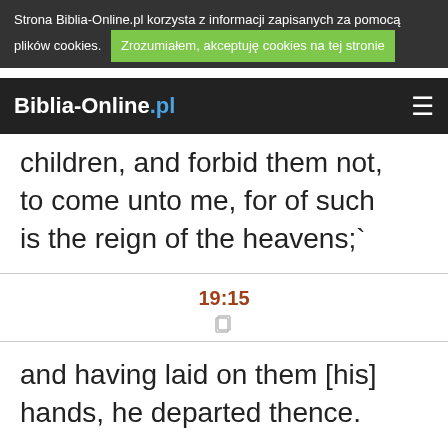Strona Biblia-Online.pl korzysta z informacji zapisanych za pomocą plików cookies. Zrozumiałem, akceptuję cookies na tej stronie
Biblia-Online.pl
But Jesus said, Suffer the children, and forbid them not, to come unto me, for of such is the reign of the heavens;`
19:15
and having laid on them [his] hands, he departed thence.
19:16